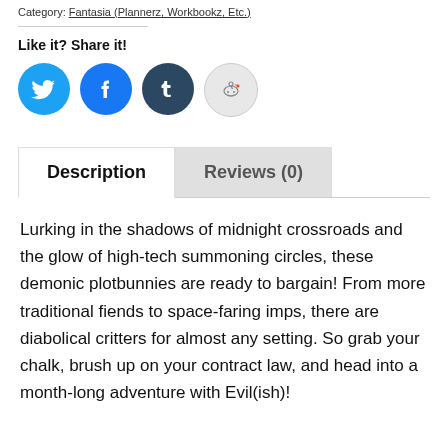Category: Fantasia (Plannerz, Workbookz, Etc.)
Like it? Share it!
[Figure (infographic): Four social media share buttons: Twitter (blue), Facebook (blue), Tumblr (dark blue), Reddit (light gray)]
Description   Reviews (0)
Lurking in the shadows of midnight crossroads and the glow of high-tech summoning circles, these demonic plotbunnies are ready to bargain! From more traditional fiends to space-faring imps, there are diabolical critters for almost any setting. So grab your chalk, brush up on your contract law, and head into a month-long adventure with Evil(ish)!